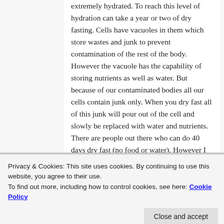extremely hydrated. To reach this level of hydration can take a year or two of dry fasting. Cells have vacuoles in them which store wastes and junk to prevent contamination of the rest of the body. However the vacuole has the capability of storing nutrients as well as water. But because of our contaminated bodies all our cells contain junk only. When you dry fast all of this junk will pour out of the cell and slowly be replaced with water and nutrients. There are people out there who can do 40 days dry fast (no food or water). However I do not recommend it unless your body is extremely clean.
Privacy & Cookies: This site uses cookies. By continuing to use this website, you agree to their use.
To find out more, including how to control cookies, see here: Cookie Policy
Close and accept
esmeelafleur